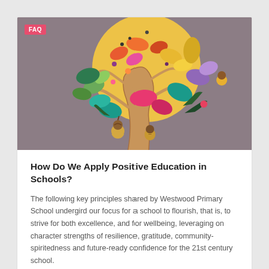[Figure (illustration): Colorful decorative illustration of a stylized tree with autumn leaves, acorns, and botanical elements in green, yellow, orange, pink, teal, and purple on a warm grey/taupe background. A pink 'FAQ' badge is overlaid in the top-left corner.]
How Do We Apply Positive Education in Schools?
The following key principles shared by Westwood Primary School undergird our focus for a school to flourish, that is, to strive for both excellence, and for wellbeing, leveraging on character strengths of resilience, gratitude, community-spiritedness and future-ready confidence for the 21st century school.